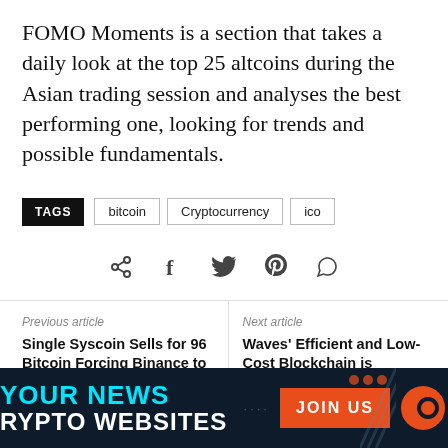FOMO Moments is a section that takes a daily look at the top 25 altcoins during the Asian trading session and analyses the best performing one, looking for trends and possible fundamentals.
TAGS  bitcoin  Cryptocurrency  ico
[Figure (other): Social share icons: share, facebook, twitter, pinterest, whatsapp]
Previous article
Single Syscoin Sells for 96 Bitcoin Forcing Binance to Suspend Trading
Next article
Waves' Efficient and Low-Cost Blockchain is Optimized For Airdrops
[Figure (infographic): Dark banner with cyan text 'YOUR NEWS' and white text 'CRYPTO WEBSITES', orange JOIN US button and logo]